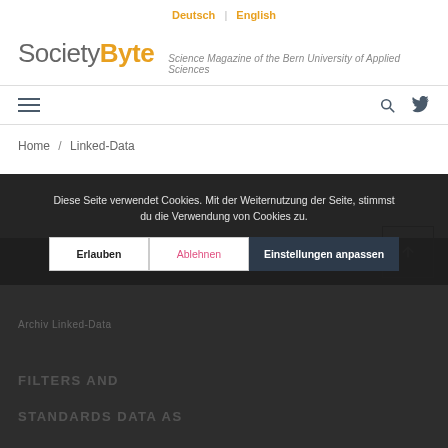Deutsch | English
SocietyByte — Science Magazine of the Bern University of Applied Sciences
[Figure (other): Navigation bar with hamburger menu icon on left, search and Twitter icons on right]
Home / Linked-Data
Diese Seite verwendet Cookies. Mit der Weiternutzung der Seite, stimmst du die Verwendung von Cookies zu.
Erlauben | Ablehnen | Einstellungen anpassen
FILTERS AND STANDARDS DATA AS (partially visible)